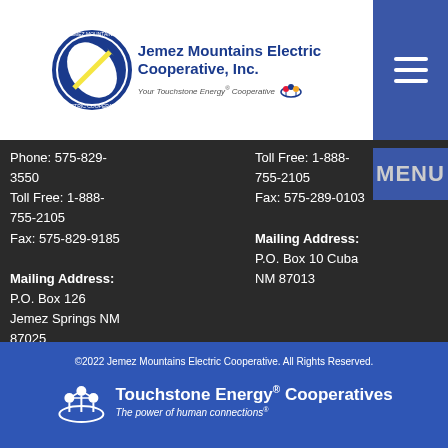[Figure (logo): Jemez Mountains Electric Cooperative, Inc. logo with circular badge and text. Your Touchstone Energy Cooperative.]
Phone: 575-829-3550
Toll Free: 1-888-755-2105
Fax: 575-829-9185

Mailing Address:
P.O. Box 126
Jemez Springs NM 87025
Toll Free: 1-888-755-2105
Fax: 575-289-0103

Mailing Address:
P.O. Box 10 Cuba NM 87013
MENU
©2022 Jemez Mountains Electric Cooperative. All Rights Reserved.
[Figure (logo): Touchstone Energy Cooperatives logo — The power of human connections]